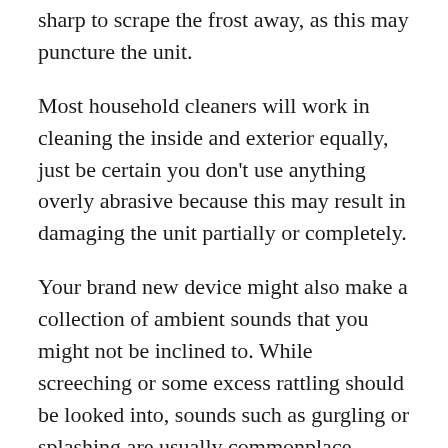sharp to scrape the frost away, as this may puncture the unit.
Most household cleaners will work in cleaning the inside and exterior equally, just be certain you don't use anything overly abrasive because this may result in damaging the unit partially or completely.
Your brand new device might also make a collection of ambient sounds that you might not be inclined to. While screeching or some excess rattling should be looked into, sounds such as gurgling or splashing are usually commonplace.
Closing Thoughts
These compact toasters come freestanding or can